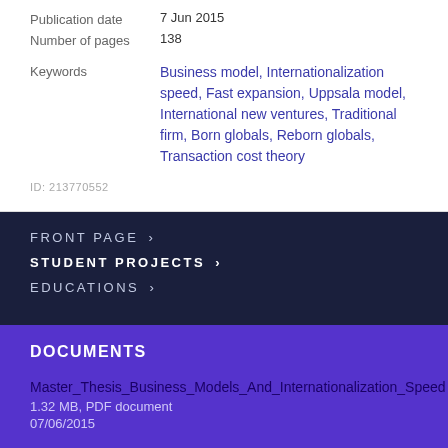Publication date   7 Jun 2015
Number of pages   138
Keywords   Business model, Internationalization speed, Fast expansion, Uppsala model, International new ventures, Traditional firm, Born globals, Reborn globals, Transaction cost theory
ID: 213770552
FRONT PAGE ›
STUDENT PROJECTS ›
EDUCATIONS ›
DOCUMENTS
Master_Thesis_Business_Models_And_Internationalization_Speed
1.32 MB, PDF document
07/06/2015
SHORTCUTS